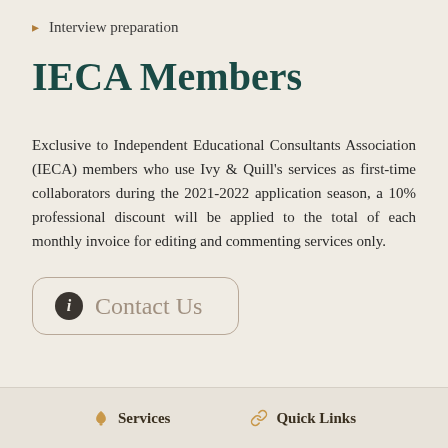Interview preparation
IECA Members
Exclusive to Independent Educational Consultants Association (IECA) members who use Ivy & Quill's services as first-time collaborators during the 2021-2022 application season, a 10% professional discount will be applied to the total of each monthly invoice for editing and commenting services only.
Contact Us
Services   Quick Links